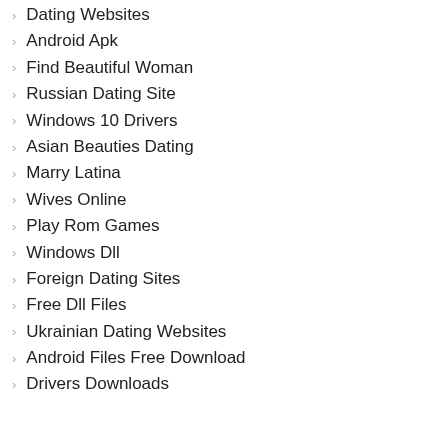Dating Websites
Android Apk
Find Beautiful Woman
Russian Dating Site
Windows 10 Drivers
Asian Beauties Dating
Marry Latina
Wives Online
Play Rom Games
Windows Dll
Foreign Dating Sites
Free Dll Files
Ukrainian Dating Websites
Android Files Free Download
Drivers Downloads